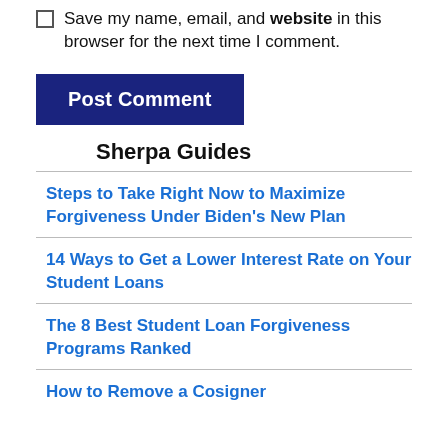Save my name, email, and website in this browser for the next time I comment.
Post Comment
Sherpa Guides
Steps to Take Right Now to Maximize Forgiveness Under Biden's New Plan
14 Ways to Get a Lower Interest Rate on Your Student Loans
The 8 Best Student Loan Forgiveness Programs Ranked
How to Remove a Cosigner